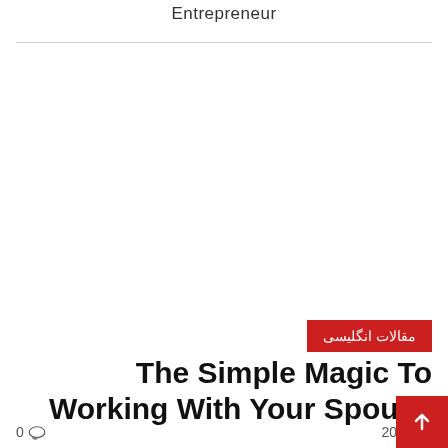Entrepreneur
مقالات انگلیسی
The Simple Magic To Working With Your Spouse
0  2014.28